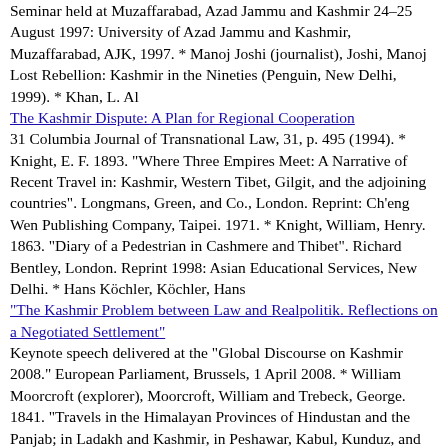Seminar held at Muzaffarabad, Azad Jammu and Kashmir 24–25 August 1997: University of Azad Jammu and Kashmir, Muzaffarabad, AJK, 1997. * Manoj Joshi (journalist), Joshi, Manoj Lost Rebellion: Kashmir in the Nineties (Penguin, New Delhi, 1999). * Khan, L. Al
The Kashmir Dispute: A Plan for Regional Cooperation
31 Columbia Journal of Transnational Law, 31, p. 495 (1994). * Knight, E. F. 1893. "Where Three Empires Meet: A Narrative of Recent Travel in: Kashmir, Western Tibet, Gilgit, and the adjoining countries". Longmans, Green, and Co., London. Reprint: Ch'eng Wen Publishing Company, Taipei. 1971. * Knight, William, Henry. 1863. "Diary of a Pedestrian in Cashmere and Thibet". Richard Bentley, London. Reprint 1998: Asian Educational Services, New Delhi. * Hans Köchler, Köchler, Hans
"The Kashmir Problem between Law and Realpolitik. Reflections on a Negotiated Settlement"
Keynote speech delivered at the "Global Discourse on Kashmir 2008." European Parliament, Brussels, 1 April 2008. * William Moorcroft (explorer), Moorcroft, William and Trebeck, George. 1841. "Travels in the Himalayan Provinces of Hindustan and the Panjab; in Ladakh and Kashmir, in Peshawar, Kabul, Kunduz, and